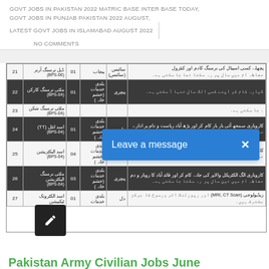GOVT JOBS IN PAKISTAN 2022 MATRIC BASE INTER BASE TODAY, GOVT JOBS IN PUNJAB PAKISTAN 2022 AUGUST, LATEST GOVT JOBS IN ISLAMABAD AUGUST 2022
NO COMMENTS
[Figure (table-as-image): Urdu-language table listing government job positions numbered 21-27 with BPS grades, quantities, departments, and job description columns. A blue 'Leave a message' popup overlay appears on top.]
Pakistan Army Civilian Jobs June 2022 At 602 Regional Workshop EME
Check how to submit application for Pakistan Army...